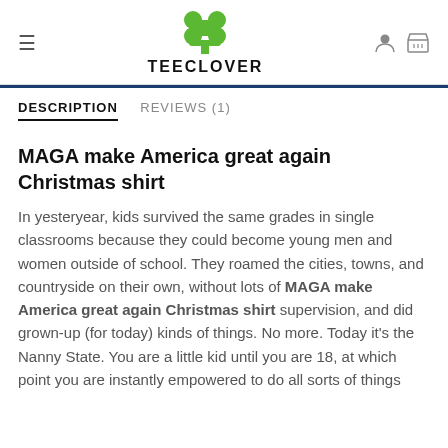TEECLOVER
DESCRIPTION
REVIEWS (1)
MAGA make America great again Christmas shirt
In yesteryear, kids survived the same grades in single classrooms because they could become young men and women outside of school. They roamed the cities, towns, and countryside on their own, without lots of MAGA make America great again Christmas shirt supervision, and did grown-up (for today) kinds of things. No more. Today it's the Nanny State. You are a little kid until you are 18, at which point you are instantly empowered to do all sorts of things that I don't, at the moment, have space to list. Nanny State...